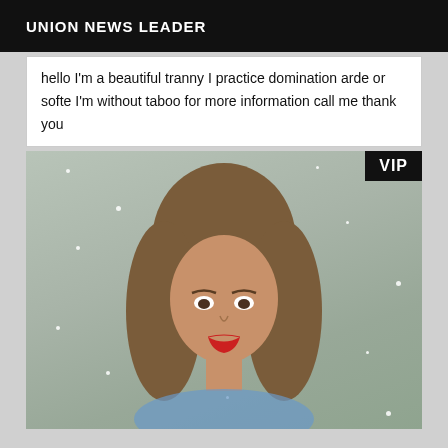UNION NEWS LEADER
hello I'm a beautiful tranny I practice domination arde or softe I'm without taboo for more information call me thank you
[Figure (photo): Portrait photo of a person with long hair and red lipstick against a sparkly grey background, with a VIP badge in the top right corner.]